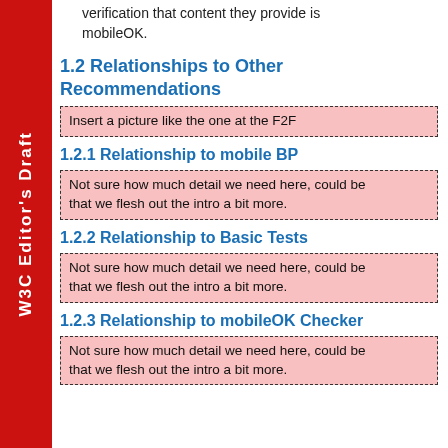W3C Editor's Draft
verification that content they provide is mobileOK.
1.2 Relationships to Other Recommendations
Insert a picture like the one at the F2F
1.2.1 Relationship to mobile BP
Not sure how much detail we need here, could be that we flesh out the intro a bit more.
1.2.2 Relationship to Basic Tests
Not sure how much detail we need here, could be that we flesh out the intro a bit more.
1.2.3 Relationship to mobileOK Checker
Not sure how much detail we need here, could be that we flesh out the intro a bit more.